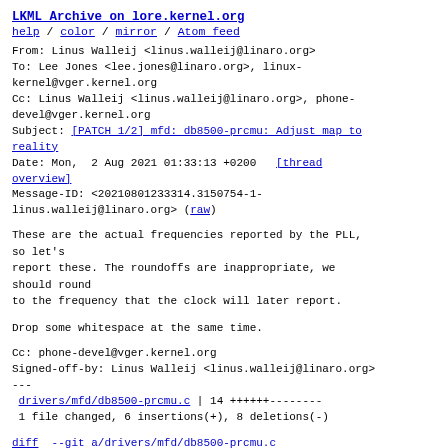LKML Archive on lore.kernel.org
help / color / mirror / Atom feed
From: Linus Walleij <linus.walleij@linaro.org>
To: Lee Jones <lee.jones@linaro.org>, linux-kernel@vger.kernel.org
Cc: Linus Walleij <linus.walleij@linaro.org>, phone-devel@vger.kernel.org
Subject: [PATCH 1/2] mfd: db8500-prcmu: Adjust map to reality
Date: Mon,  2 Aug 2021 01:33:13 +0200   [thread overview]
Message-ID: <20210801233314.3150754-1-linus.walleij@linaro.org> (raw)
These are the actual frequencies reported by the PLL, so let's
report these. The roundoffs are inappropriate, we should round
to the frequency that the clock will later report.
Drop some whitespace at the same time.
Cc: phone-devel@vger.kernel.org
Signed-off-by: Linus Walleij <linus.walleij@linaro.org>
---
 drivers/mfd/db8500-prcmu.c | 14 ++++++--------
 1 file changed, 6 insertions(+), 8 deletions(-)
diff --git a/drivers/mfd/db8500-prcmu.c